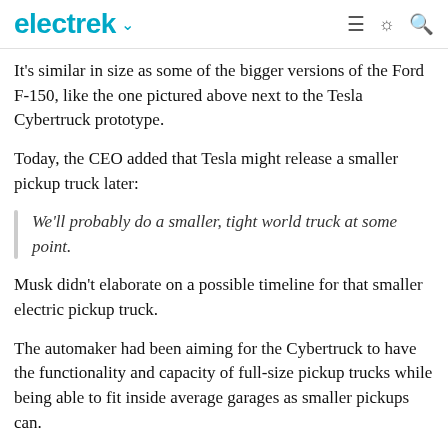electrek
It's similar in size as some of the bigger versions of the Ford F-150, like the one pictured above next to the Tesla Cybertruck prototype.
Today, the CEO added that Tesla might release a smaller pickup truck later:
We'll probably do a smaller, tight world truck at some point.
Musk didn't elaborate on a possible timeline for that smaller electric pickup truck.
The automaker had been aiming for the Cybertruck to have the functionality and capacity of full-size pickup trucks while being able to fit inside average garages as smaller pickups can.
Tesla said that it plans to launch the two higher-end versions